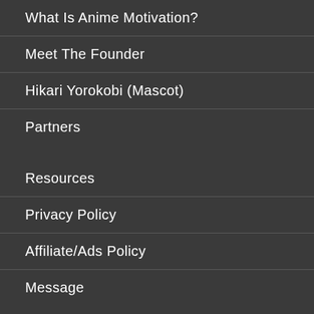What Is Anime Motivation?
Meet The Founder
Hikari Yorokobi (Mascot)
Partners
Resources
Privacy Policy
Affiliate/Ads Policy
Message
[Figure (infographic): Social media icons row: Facebook, Instagram, Twitter, Pinterest, LinkedIn]